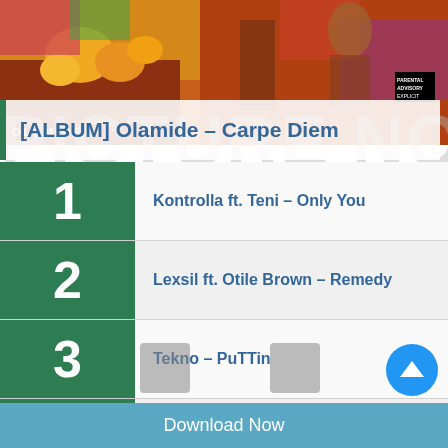[Figure (photo): Colorful album art image for Olamide Carpe Diem with vibrant market scene and people in bright clothing]
[ALBUM] Olamide – Carpe Diem
1  Kontrolla ft. Teni – Only You
2  Lexsil ft. Otile Brown – Remedy
3  Tekno – PuTTin
4  Dremo – Thieves In Uniform
5  (partially visible)
Download Now